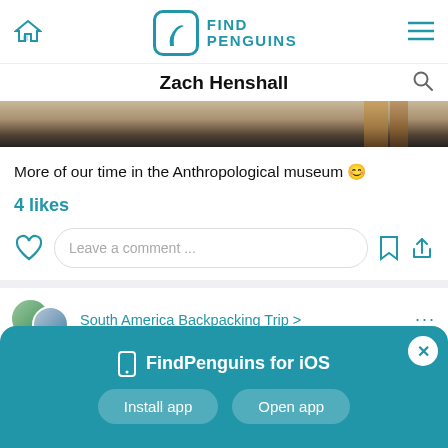FindPenguins — Zach Henshall
[Figure (screenshot): App header with FindPenguins logo, home icon, hamburger menu]
More of our time in the Anthropological museum 😊
4 likes
[Figure (screenshot): Interaction row: heart/like icon, comment input field, bookmark icon, share icon]
South America Backpacking Trip >
[Figure (screenshot): App install banner: FindPenguins for iOS, Install app, Open app buttons, close X button]